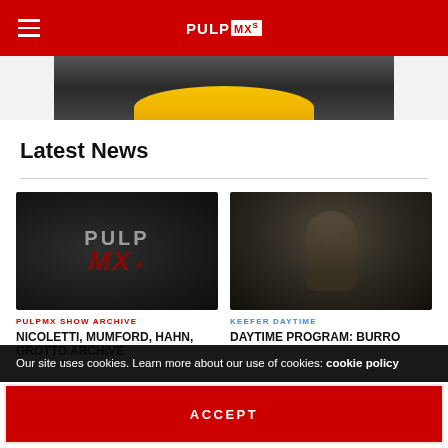PULPMX
[Figure (photo): Advertisement banner with dark background and yellow arc/logo element]
Latest News
[Figure (logo): PULPMX logo on dark background - PULPMX SHOW ARCHIVE card image]
PULPMX SHOW ARCHIVE
NICOLETTI, MUMFORD, HAHN, GROTTO ARCHIVE
[Figure (photo): Dark blurred photo of a person - KEEFER DAYTIME card image]
KEEFER DAYTIME
DAYTIME PROGRAM: BURRO
Our site uses cookies. Learn more about our use of cookies: cookie policy
ACCEPT